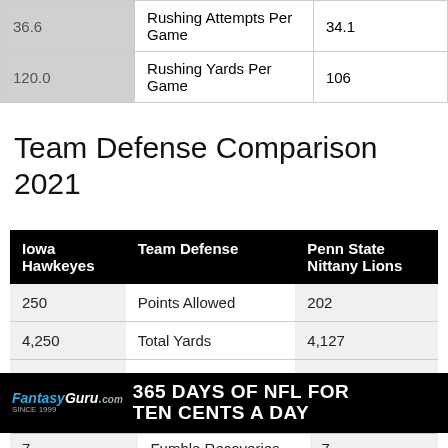| Iowa Hawkeyes |  | Penn State Nittany Lions |
| --- | --- | --- |
| 36.6 | Rushing Attempts Per Game | 34.1 |
| 120.0 | Rushing Yards Per Game | 106 |
Team Defense Comparison 2021
| Iowa Hawkeyes | Team Defense | Penn State Nittany Lions |
| --- | --- | --- |
| 250 | Points Allowed | 202 |
| 4,250 | Total Yards | 4,127 |
| 901 | Plays on Defense | 884 |
| 7 | Fumble Recoveries | 7 |
[Figure (other): FantasyGuru.com advertisement banner: '365 DAYS OF NFL FOR TEN CENTS A DAY' with football player image on dark background]